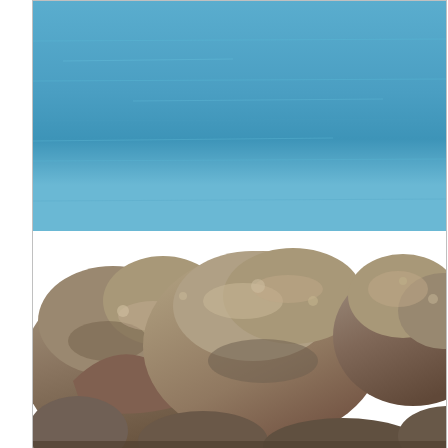[Figure (photo): Photograph of large rocks/boulders at a coastline with blue sea water in the background]
Look of an angel: Sea...
Would you go hitchhiking Israel solo?
Tweet
About Maria Alexandra Laborde
View all posts by Maria Alexandra Laborde →